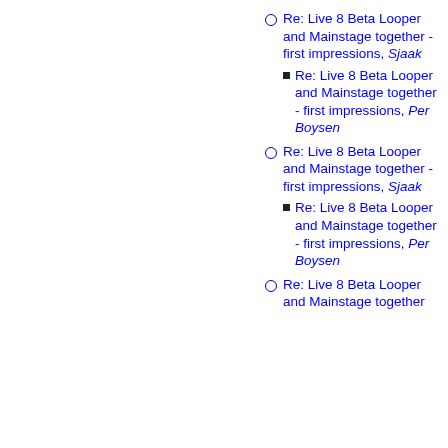Re: Live 8 Beta Looper and Mainstage together - first impressions, Sjaak
Re: Live 8 Beta Looper and Mainstage together - first impressions, Per Boysen
Re: Live 8 Beta Looper and Mainstage together - first impressions, Sjaak
Re: Live 8 Beta Looper and Mainstage together - first impressions, Per Boysen
Re: Live 8 Beta Looper and Mainstage together